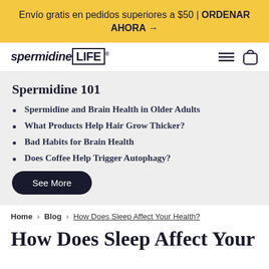Envío gratis en pedidos superiores a $50 | ORDENAR AHORA →
[Figure (logo): spermidineLIFE logo with LIFE in a box, hamburger menu icon and bag icon]
Spermidine 101
Spermidine and Brain Health in Older Adults
What Products Help Hair Grow Thicker?
Bad Habits for Brain Health
Does Coffee Help Trigger Autophagy?
See More
Home › Blog › How Does Sleep Affect Your Health?
How Does Sleep Affect Your